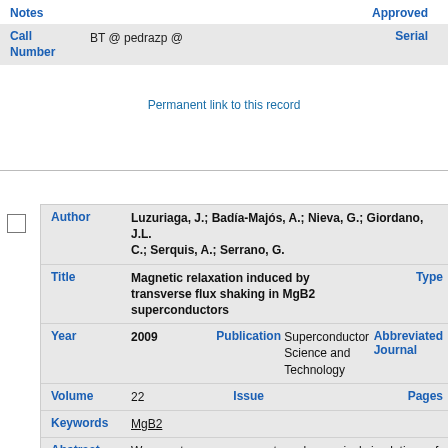| Notes |  | Approved |  |
| --- | --- | --- | --- |
| Notes |  | Approved |  |
| Call Number | BT @ pedrazp @ | Serial |  |
Permanent link to this record
| Author | Title | Year | Volume | Keywords | Abstract |
| --- | --- | --- | --- | --- | --- |
| Author | Luzuriaga, J.; Badía-Majós, A.; Nieva, G.; Giordano, J.L.; Serquis, A.; Serrano, G. |  |  |
| Title | Magnetic relaxation induced by transverse flux shaking in MgB2 superconductors | Type |  |
| Year | 2009 | Publication | Superconductor Science and Technology | Abbreviated Journal |  |
| Volume | 22 | Issue |  | Pages |  |
| Keywords | MgB2 |  |  |  |  |
| Abstract | We report on measurements and numerical simulations of the behavior of MgB2 superconductors when magnetic field components are applied along mutually perpendicular directions. By clo... |  |  |  |  |